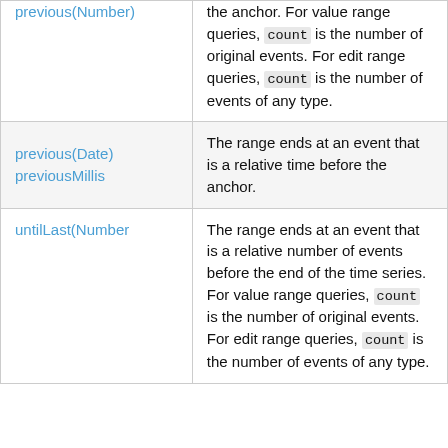| previous(Number) | the anchor. For value range queries, count is the number of original events. For edit range queries, count is the number of events of any type. |
| previous(Date)
previousMillis | The range ends at an event that is a relative time before the anchor. |
| untilLast(Number | The range ends at an event that is a relative number of events before the end of the time series. For value range queries, count is the number of original events. For edit range queries, count is the number of events of any type. |